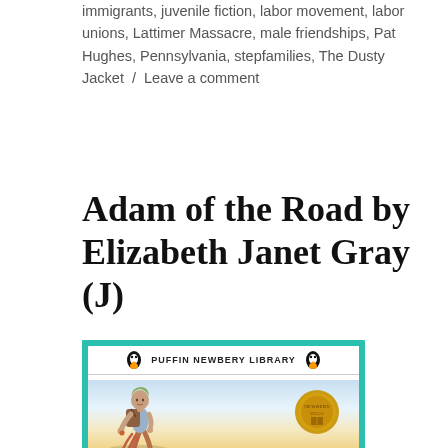immigrants, juvenile fiction, labor movement, labor unions, Lattimer Massacre, male friendships, Pat Hughes, Pennsylvania, stepfamilies, The Dusty Jacket / Leave a comment
Adam of the Road by Elizabeth Janet Gray (J)
[Figure (illustration): Book cover of 'Adam of the Road' from the Puffin Newbery Library series. Teal/turquoise border with white inner frame. Header shows 'PUFFIN NEWBERY LIBRARY' with penguin logos on each side. Cover art depicts a young boy in medieval clothing walking with a pack, a golden Newbery Medal visible on the right side, against a warm sunset background.]